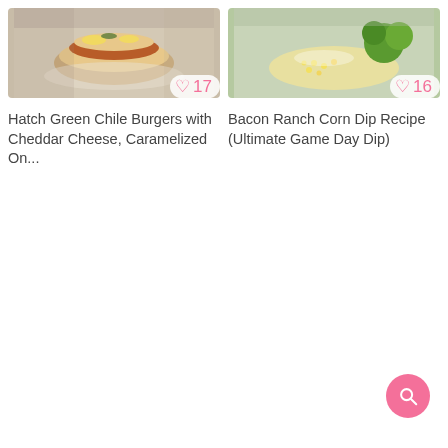[Figure (photo): Food photo: Hatch Green Chile Burgers with Cheddar Cheese and caramelized onions on a plate]
17
Hatch Green Chile Burgers with Cheddar Cheese, Caramelized On...
[Figure (photo): Food photo: Bacon Ranch Corn Dip in a bowl with broccoli and toppings]
16
Bacon Ranch Corn Dip Recipe (Ultimate Game Day Dip)